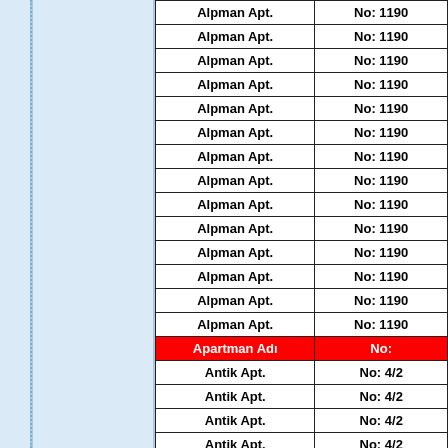| Apartman Adı | No: |
| --- | --- |
| Alpman Apt. | No: 1190 |
| Alpman Apt. | No: 1190 |
| Alpman Apt. | No: 1190 |
| Alpman Apt. | No: 1190 |
| Alpman Apt. | No: 1190 |
| Alpman Apt. | No: 1190 |
| Alpman Apt. | No: 1190 |
| Alpman Apt. | No: 1190 |
| Alpman Apt. | No: 1190 |
| Alpman Apt. | No: 1190 |
| Alpman Apt. | No: 1190 |
| Alpman Apt. | No: 1190 |
| Alpman Apt. | No: 1190 |
| Alpman Apt. | No: 1190 |
| Antik Apt. | No: 4/2 |
| Antik Apt. | No: 4/2 |
| Antik Apt. | No: 4/2 |
| Antik Apt. | No: 4/2 |
| Antik Apt. | No: 4/2 |
| Antik Apt. | No: 4/2 |